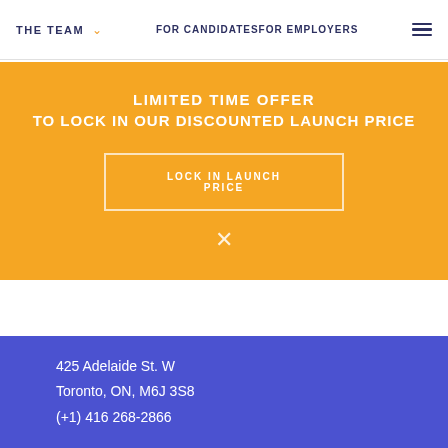THE TEAM  FOR CANDIDATESFOR EMPLOYERS
LIMITED TIME OFFER
TO LOCK IN OUR DISCOUNTED LAUNCH PRICE
LOCK IN LAUNCH PRICE
×
425 Adelaide St. W
Toronto, ON, M6J 3S8
(+1) 416 268-2866